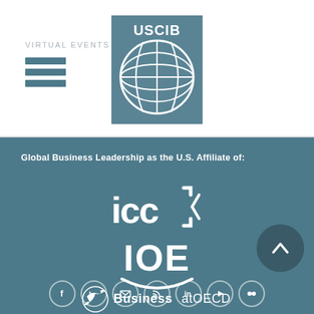VIRTUAL EVENTS
[Figure (logo): USCIB logo with globe icon in teal/grey square]
Global Business Leadership as the U.S. Affiliate of:
[Figure (logo): ICC logo in white on teal background]
[Figure (logo): IOE logo in white on teal background]
[Figure (logo): BusinessatOECD logo in white on teal background]
[Figure (other): Social media icons row: Facebook, Twitter, Email, RSS, LinkedIn, YouTube, Flickr]